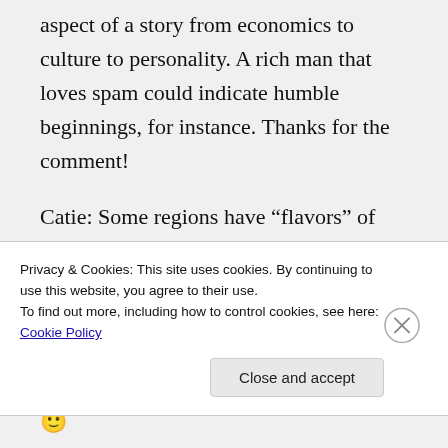aspect of a story from economics to culture to personality. A rich man that loves spam could indicate humble beginnings, for instance. Thanks for the comment!
Catie: Some regions have “flavors” of their own and others are a bit more bland. I’d say you are blessed to live in Texas where the food culture is so well-developed. The culture of humanity literally grew out of the kitchen hearth 🙂
Privacy & Cookies: This site uses cookies. By continuing to use this website, you agree to their use.
To find out more, including how to control cookies, see here: Cookie Policy
Close and accept